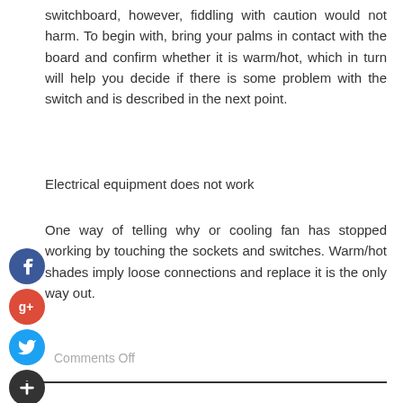switchboard, however, fiddling with caution would not harm. To begin with, bring your palms in contact with the board and confirm whether it is warm/hot, which in turn will help you decide if there is some problem with the switch and is described in the next point.
Electrical equipment does not work
One way of telling why or cooling fan has stopped working by touching the sockets and switches. Warm/hot shades imply loose connections and replace it is the only way out.
Comments Off